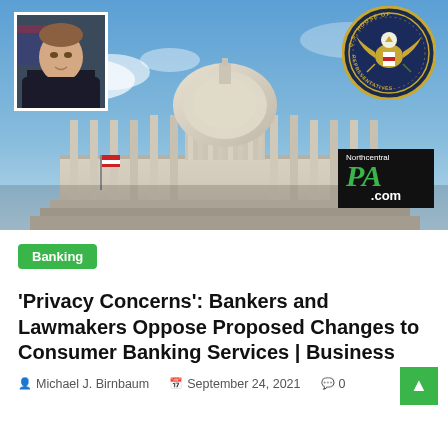[Figure (photo): Hero image of the U.S. Capitol building with blue sky background. Overlaid: portrait photo of a man in a dark suit (top-left), U.S. House of Representatives seal (top-right), and NorthcentralPA.com logo (bottom-right).]
Banking
'Privacy Concerns': Bankers and Lawmakers Oppose Proposed Changes to Consumer Banking Services | Business
Michael J. Birnbaum  September 24, 2021  0